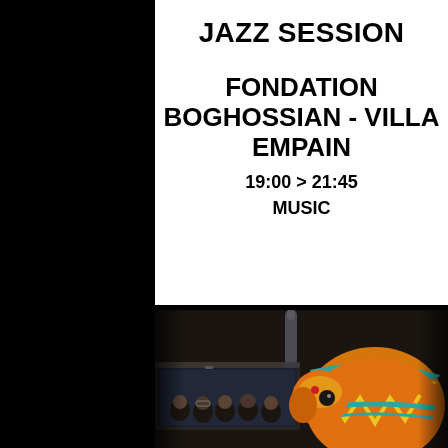JAZZ SESSION
FONDATION BOGHOSSIAN - VILLA EMPAIN
19:00 > 21:45
MUSIC
[Figure (photo): A photo showing an audience of people in the background, and in the foreground a decorative elephant figurine with colorful orange, teal, and yellow pattern, with a bottle visible in the background.]